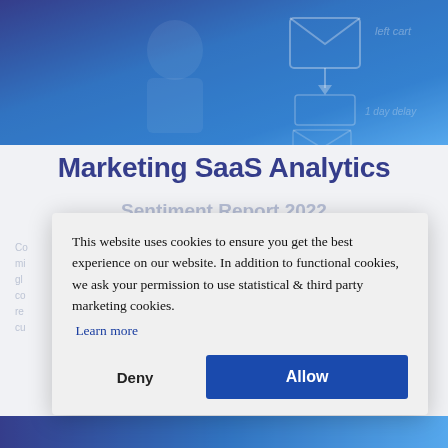[Figure (photo): Blue gradient hero image with a person and marketing/email flowchart icons overlay]
Marketing SaaS Analytics
Sentiment Report 2022
Co... mi... gl... co... re... cu...
This website uses cookies to ensure you get the best experience on our website. In addition to functional cookies, we ask your permission to use statistical & third party marketing cookies.
Learn more
Deny
Allow